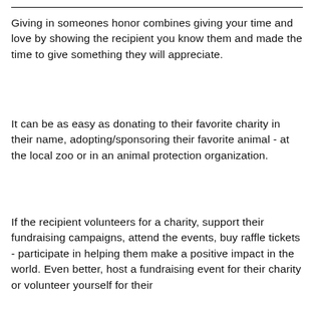Giving in someones honor combines giving your time and love by showing the recipient you know them and made the time to give something they will appreciate.
It can be as easy as donating to their favorite charity in their name, adopting/sponsoring their favorite animal - at the local zoo or in an animal protection organization.
If the recipient volunteers for a charity, support their fundraising campaigns, attend the events, buy raffle tickets - participate in helping them make a positive impact in the world. Even better, host a fundraising event for their charity or volunteer yourself for their